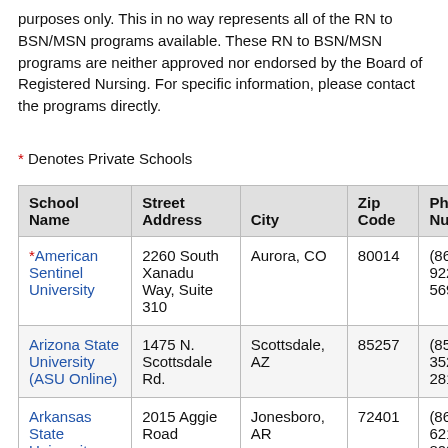purposes only. This in no way represents all of the RN to BSN/MSN programs available. These RN to BSN/MSN programs are neither approved nor endorsed by the Board of Registered Nursing. For specific information, please contact the programs directly.
* Denotes Private Schools
| School Name | Street Address | City | Zip Code | Phone Number |
| --- | --- | --- | --- | --- |
| *American Sentinel University | 2260 South Xanadu Way, Suite 310 | Aurora, CO | 80014 | (86... 922... 569... |
| Arizona State University (ASU Online) | 1475 N. Scottsdale Rd. | Scottsdale, AZ | 85257 | (85... 352... 281... |
| Arkansas State University | 2015 Aggie Road | Jonesboro, AR | 72401 | (86... 621... 809... |